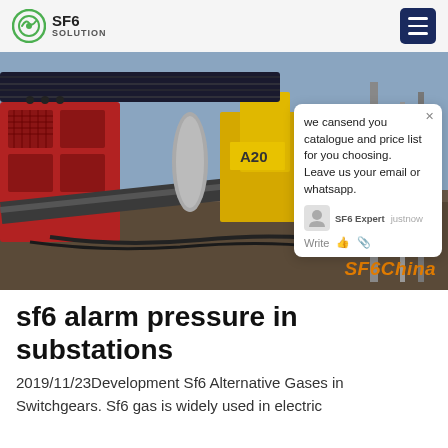SF6 SOLUTION
[Figure (photo): Industrial SF6 gas handling equipment at an outdoor substation site. Red machinery units on a wheeled platform with cables and yellow construction equipment in background. Chat popup overlay visible. SF6China watermark in orange bottom right.]
sf6 alarm pressure in substations
2019/11/23Development Sf6 Alternative Gases in Switchgears. Sf6 gas is widely used in electric